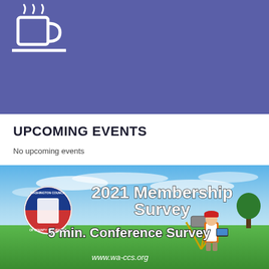[Figure (screenshot): Blue/purple banner background with a white coffee cup icon in the upper left area]
UPCOMING EVENTS
No upcoming events
[Figure (photo): Promotional banner for Washington Council of County Surveyors 2021 Membership Survey - 5 min. Conference Survey. Background shows blue sky with clouds and green grass field. A surveyor in orange safety vest and red hard hat stands with survey equipment. Logo of Washington Council of County Surveyors on left. Website: www.wa-ccs.org]